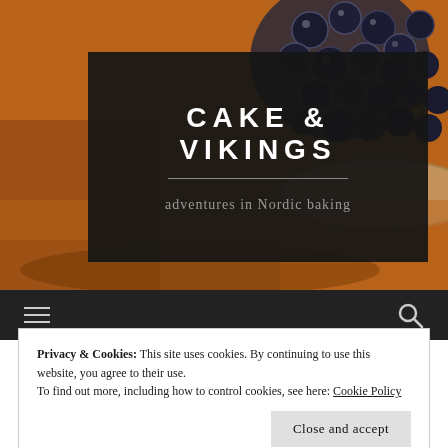[Figure (photo): Hero image showing blueberries in a bowl on a warm wooden/orange surface background, with a dark semi-transparent overlay box containing the site title and tagline.]
CAKE & VIKINGS
adventures in Nordic baking
[Figure (infographic): Dark navigation bar with hamburger menu icon on the left and search icon on the right.]
Privacy & Cookies: This site uses cookies. By continuing to use this website, you agree to their use.
To find out more, including how to control cookies, see here: Cookie Policy
Close and accept